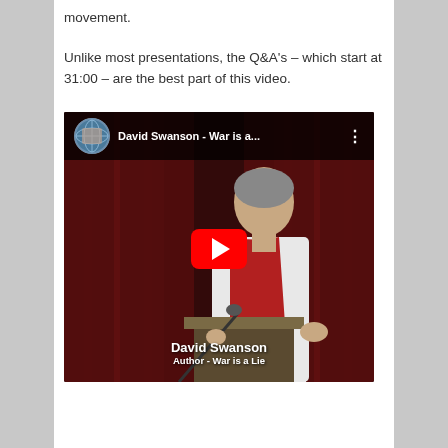movement.
Unlike most presentations, the Q&A's – which start at 31:00 – are the best part of this video.
[Figure (screenshot): YouTube video thumbnail showing David Swanson speaking at a podium with a microphone. The video title bar reads 'David Swanson - War is a...' with a channel icon. A large red YouTube play button is centered on the image. A lower-third graphic shows 'David Swanson' and 'Author - War is a Lie'.]